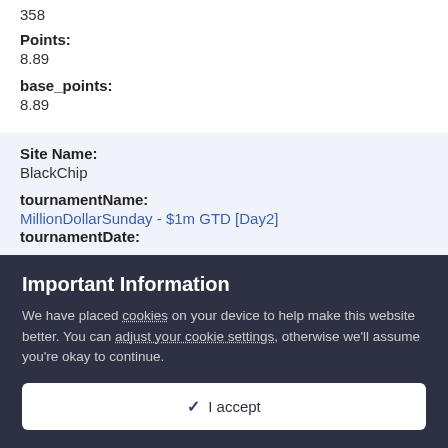358
Points:
8.89
base_points:
8.89
Site Name:
BlackChip
tournamentName:
MillionDollarSunday - $1m GTD [Day2]
tournamentDate:
Important Information
We have placed cookies on your device to help make this website better. You can adjust your cookie settings, otherwise we'll assume you're okay to continue.
✓  I accept